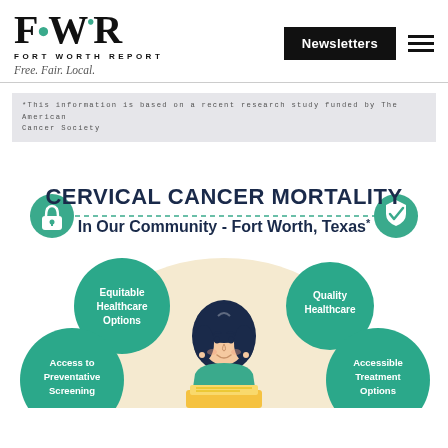[Figure (logo): FWR - Fort Worth Report logo with teal accent dots and tagline 'Free. Fair. Local.']
Newsletters
*This information is based on a recent research study funded by The American Cancer Society
[Figure (infographic): Cervical Cancer Mortality in Our Community - Fort Worth, Texas infographic with a central illustration of a woman and four surrounding teal circle bubbles: Equitable Healthcare Options, Quality Healthcare, Access to Preventative Screening, Accessible Treatment Options]